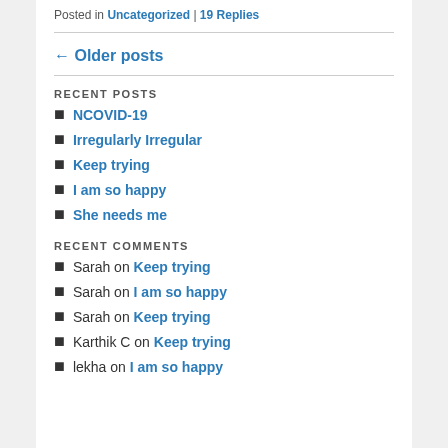Posted in Uncategorized | 19 Replies
← Older posts
RECENT POSTS
NCOVID-19
Irregularly Irregular
Keep trying
I am so happy
She needs me
RECENT COMMENTS
Sarah on Keep trying
Sarah on I am so happy
Sarah on Keep trying
Karthik C on Keep trying
lekha on I am so happy